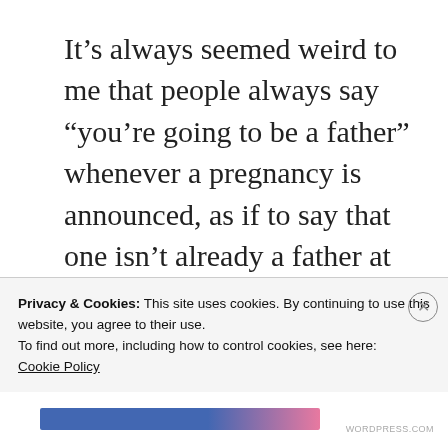It’s always seemed weird to me that people always say “you’re going to be a father” whenever a pregnancy is announced, as if to say that one isn’t already a father at that point in time. Or that one isn’t a father until birth. Once there’s a pregnancy, you’re a parent. Period. And you always will be. Nobody can deny that or take that away from you. It just is.
Privacy & Cookies: This site uses cookies. By continuing to use this website, you agree to their use.
To find out more, including how to control cookies, see here:
Cookie Policy
Close and accept